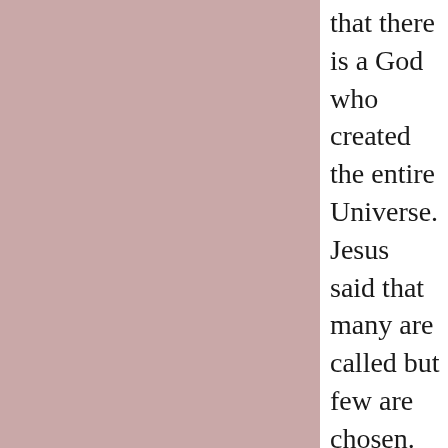that there is a God who created the entire Universe. Jesus said that many are called but few are chosen. Jesus also said that